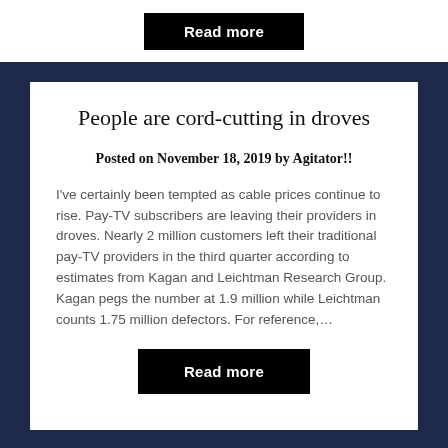Read more
People are cord-cutting in droves
Posted on November 18, 2019 by Agitator!!
I've certainly been tempted as cable prices continue to rise. Pay-TV subscribers are leaving their providers in droves. Nearly 2 million customers left their traditional pay-TV providers in the third quarter according to estimates from Kagan and Leichtman Research Group. Kagan pegs the number at 1.9 million while Leichtman counts 1.75 million defectors. For reference,…
Read more